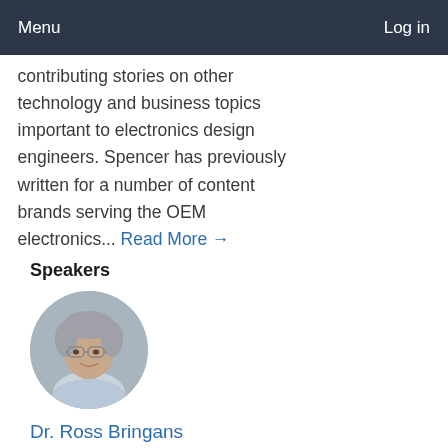Menu  Log in
contributing stories on other technology and business topics important to electronics design engineers. Spencer has previously written for a number of content brands serving the OEM electronics... Read More →
Speakers
[Figure (photo): Circular headshot photo of Dr. Ross Bringans, a middle-aged man with gray hair and glasses, wearing a light blue shirt]
Dr. Ross Bringans
VP and Director, Electronic Materials & Devices Lab,